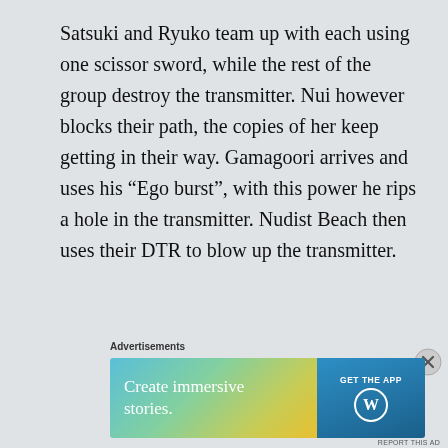Satsuki and Ryuko team up with each using one scissor sword, while the rest of the group destroy the transmitter. Nui however blocks their path, the copies of her keep getting in their way. Gamagoori arrives and uses his “Ego burst”, with this power he rips a hole in the transmitter. Nudist Beach then uses their DTR to blow up the transmitter.
Advertisements
[Figure (infographic): WordPress advertisement banner: 'Create immersive stories.' with GET THE APP button and WordPress logo on blue gradient background]